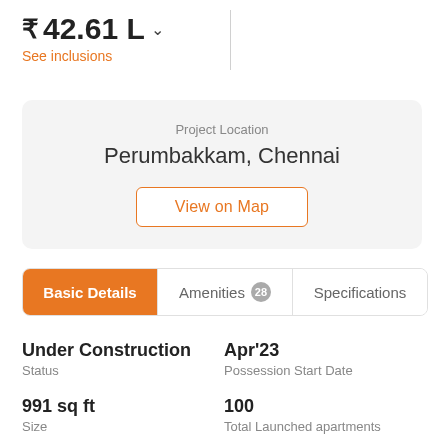₹ 42.61 L
See inclusions
Project Location
Perumbakkam, Chennai
View on Map
Basic Details | Amenities 28 | Specifications
Under Construction
Status
Apr'23
Possession Start Date
991 sq ft
Size
100
Total Launched apartments